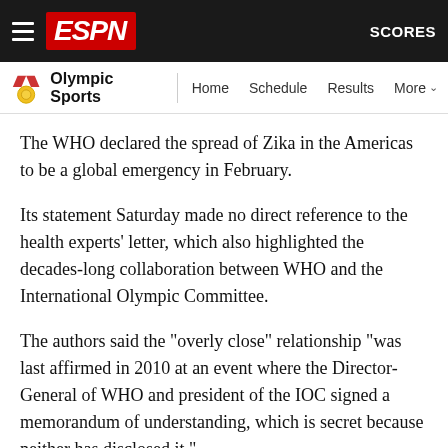ESPN — Olympic Sports | Home | Schedule | Results | More | SCORES
The WHO declared the spread of Zika in the Americas to be a global emergency in February.
Its statement Saturday made no direct reference to the health experts' letter, which also highlighted the decades-long collaboration between WHO and the International Olympic Committee.
The authors said the "overly close" relationship "was last affirmed in 2010 at an event where the Director-General of WHO and president of the IOC signed a memorandum of understanding, which is secret because neither has disclosed it."